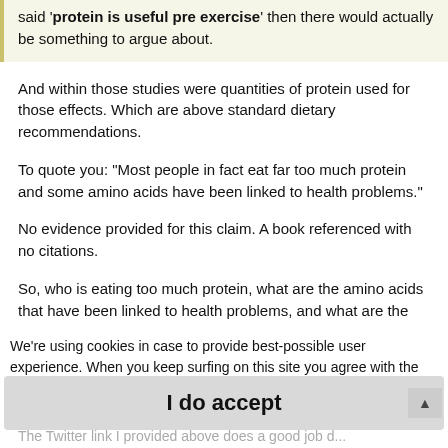said 'protein is useful pre exercise' then there would actually be something to argue about.
And within those studies were quantities of protein used for those effects. Which are above standard dietary recommendations.
To quote you: "Most people in fact eat far too much protein and some amino acids have been linked to health problems."
No evidence provided for this claim. A book referenced with no citations.
So, who is eating too much protein, what are the amino acids that have been linked to health problems, and what are the
We're using cookies in case to provide best-possible user experience. When you keep surfing on this site you agree with the cookie usage.
weight seems to be optimal, and that up to 2.5kgs of protein per kilo o
I do accept
The Twitter link I provided above does a good job d...